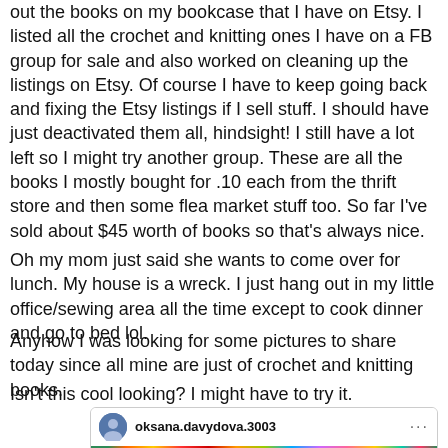out the books on my bookcase that I have on Etsy. I listed all the crochet and knitting ones I have on a FB group for sale and also worked on cleaning up the listings on Etsy. Of course I have to keep going back and fixing the Etsy listings if I sell stuff. I should have just deactivated them all, hindsight! I still have a lot left so I might try another group. These are all the books I mostly bought for .10 each from the thrift store and then some flea market stuff too. So far I've sold about $45 worth of books so that's always nice.
Oh my mom just said she wants to come over for lunch. My house is a wreck. I just hang out in my little office/sewing area all the time except to cook dinner and go to bed lol.
Anyhow I was looking for some pictures to share today since all mine are just of crochet and knitting books.
Isn't this cool looking? I might have to try it.
[Figure (screenshot): Social media post thumbnail from user oksana.davydova.3003 showing a colorful needlework or latch hook rug image]